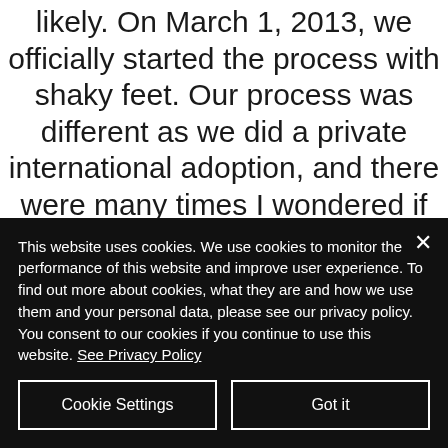likely. On March 1, 2013, we officially started the process with shaky feet. Our process was different as we did a private international adoption, and there were many times I wondered if this would ever happen. In September of 2014, we took our first trip to Japan to
This website uses cookies. We use cookies to monitor the performance of this website and improve user experience. To find out more about cookies, what they are and how we use them and your personal data, please see our privacy policy. You consent to our cookies if you continue to use this website. See Privacy Policy